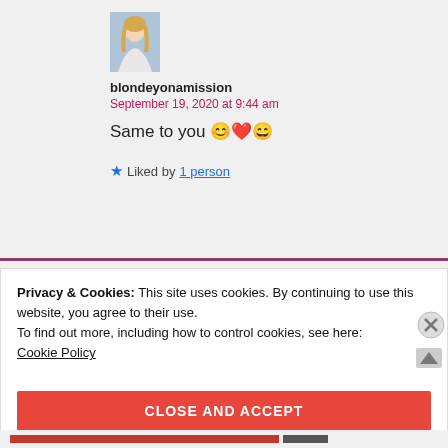[Figure (photo): Profile photo of a young woman with long blonde hair in a white top, against a blurred background]
blondeyonamission
September 19, 2020 at 9:44 am
Same to you 😊❤️😄
★ Liked by 1 person
Privacy & Cookies: This site uses cookies. By continuing to use this website, you agree to their use.
To find out more, including how to control cookies, see here:
Cookie Policy
CLOSE AND ACCEPT